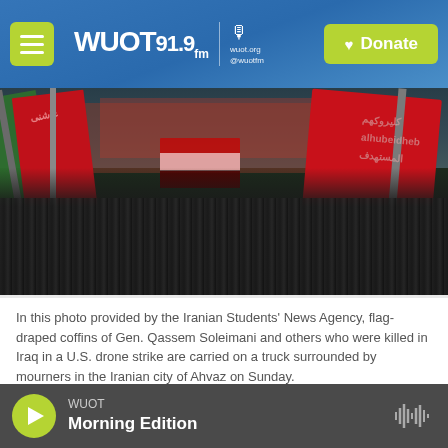WUOT 91.9 FM | wuot.org @wuotfm | Donate
[Figure (photo): Crowd of mourners carrying flag-draped coffins in the Iranian city of Ahvaz, with red and green flags visible above the crowd.]
In this photo provided by the Iranian Students' News Agency, flag-draped coffins of Gen. Qassem Soleimani and others who were killed in Iraq in a U.S. drone strike are carried on a truck surrounded by mourners in the Iranian city of Ahvaz on Sunday.
Updated at 11:50 p.m. ET Sunday
WUOT Morning Edition